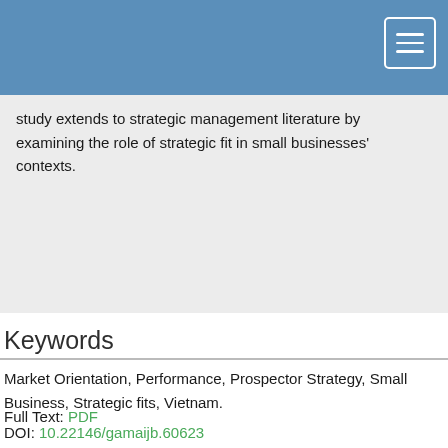study extends to strategic management literature by examining the role of strategic fit in small businesses' contexts.
Keywords
Market Orientation, Performance, Prospector Strategy, Small Business, Strategic fits, Vietnam.
Full Text: PDF
DOI: 10.22146/gamaijb.60623
References